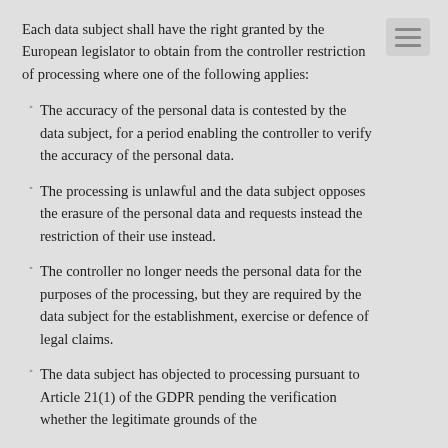Each data subject shall have the right granted by the European legislator to obtain from the controller restriction of processing where one of the following applies:
The accuracy of the personal data is contested by the data subject, for a period enabling the controller to verify the accuracy of the personal data.
The processing is unlawful and the data subject opposes the erasure of the personal data and requests instead the restriction of their use instead.
The controller no longer needs the personal data for the purposes of the processing, but they are required by the data subject for the establishment, exercise or defence of legal claims.
The data subject has objected to processing pursuant to Article 21(1) of the GDPR pending the verification whether the legitimate grounds of the